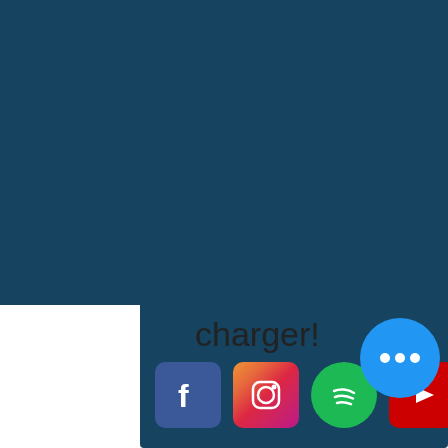The MUSLIMCENTRIC Podcast
[Figure (illustration): Social media icons (Facebook, Instagram, Twitter, YouTube, Spotify) in gray circles in navigation header]
unt ook i with ar charger!
[Figure (illustration): Footer with dark navy background containing social media icons: Facebook (blue square), Instagram (gradient square), Spotify (green circle), YouTube (red square), Twitter (gray square), and a blue chat bubble with three dots]